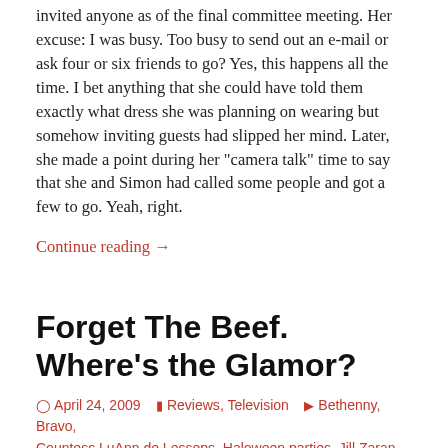invited anyone as of the final committee meeting. Her excuse: I was busy. Too busy to send out an e-mail or ask four or six friends to go? Yes, this happens all the time. I bet anything that she could have told them exactly what dress she was planning on wearing but somehow inviting guests had slipped her mind. Later, she made a point during her “camera talk” time to say that she and Simon had called some people and got a few to go. Yeah, right.
Continue reading →
Forget The Beef. Where’s the Glamor?
April 24, 2009   Reviews, Television   Bethenny, Bravo, Countess LuAnn de Lesseps, Haloween parties, Jill Zaran, Kelly